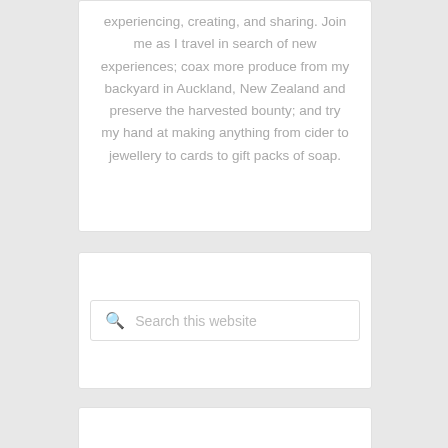experiencing, creating, and sharing. Join me as I travel in search of new experiences; coax more produce from my backyard in Auckland, New Zealand and preserve the harvested bounty; and try my hand at making anything from cider to jewellery to cards to gift packs of soap.
Search this website